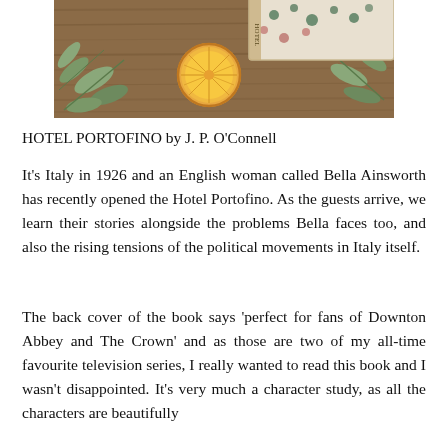[Figure (photo): Photo of a wooden table with eucalyptus leaves, a dried orange slice, and a wrapped gift or book with floral wrapping paper, viewed from above.]
HOTEL PORTOFINO by J. P. O'Connell
It's Italy in 1926 and an English woman called Bella Ainsworth has recently opened the Hotel Portofino. As the guests arrive, we learn their stories alongside the problems Bella faces too, and also the rising tensions of the political movements in Italy itself.
The back cover of the book says 'perfect for fans of Downton Abbey and The Crown' and as those are two of my all-time favourite television series, I really wanted to read this book and I wasn't disappointed. It's very much a character study, as all the characters are beautifully